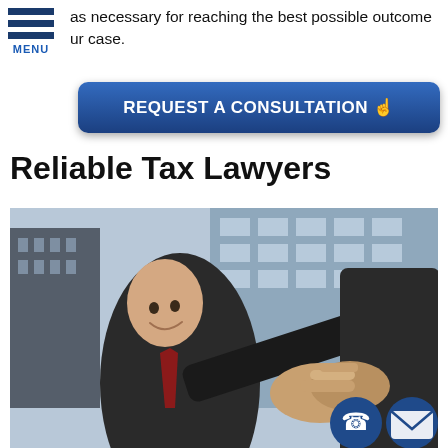as necessary for reaching the best possible outcome ur case.
[Figure (other): REQUEST A CONSULTATION button with hand pointer icon, dark blue rounded rectangle]
Reliable Tax Lawyers
[Figure (photo): Two businessmen in suits shaking hands outdoors with modern glass office buildings in background, low-angle shot, one man smiling]